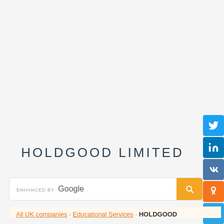[Figure (infographic): Social media sharing buttons (Twitter, LinkedIn, VK, Odnoklassniki, Telegram, Tumblr) stacked vertically on the right side]
HOLDGOOD LIMITED
[Figure (screenshot): Enhanced by Google search bar with orange search button]
All UK companies · Educational Services · HOLDGOOD